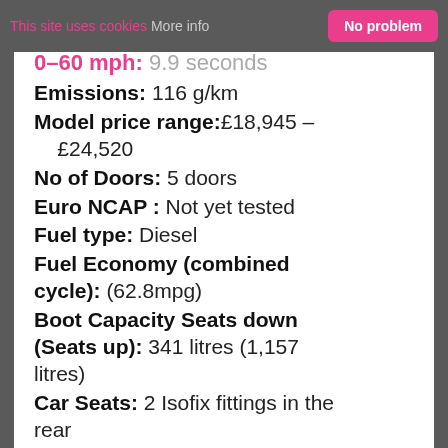This site uses cookies  More info  No problem
Emissions: 116 g/km
Model price range: £18,945 – £24,520
No of Doors: 5 doors
Euro NCAP : Not yet tested
Fuel type: Diesel
Fuel Economy (combined cycle): (62.8mpg)
Boot Capacity Seats down (Seats up): 341 litres (1,157 litres)
Car Seats: 2 Isofix fittings in the rear
Length mm: 4292
Width mm: 1780